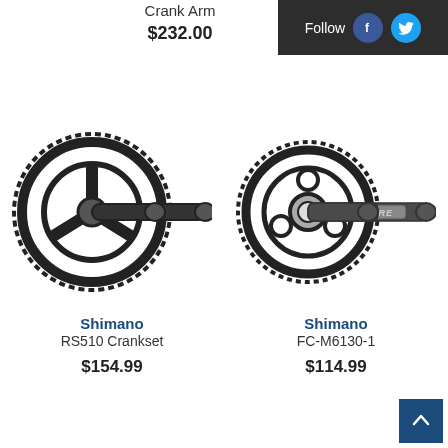Crank Arm
$232.00
M6
[Figure (photo): Shimano RS510 Crankset product photo showing a black crankset with chainring on white background]
Shimano RS510 Crankset
$154.99
[Figure (photo): Shimano FC-M6130-1 crankset product photo showing a black single chainring crankset with DEORE branding on white background]
Shimano FC-M6130-1
$114.99